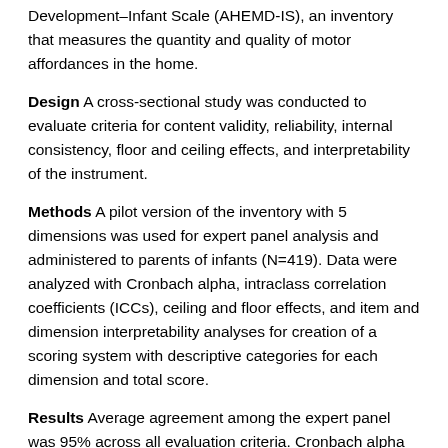Development–Infant Scale (AHEMD-IS), an inventory that measures the quantity and quality of motor affordances in the home.
Design A cross-sectional study was conducted to evaluate criteria for content validity, reliability, internal consistency, floor and ceiling effects, and interpretability of the instrument.
Methods A pilot version of the inventory with 5 dimensions was used for expert panel analysis and administered to parents of infants (N=419). Data were analyzed with Cronbach alpha, intraclass correlation coefficients (ICCs), ceiling and floor effects, and item and dimension interpretability analyses for creation of a scoring system with descriptive categories for each dimension and total score.
Results Average agreement among the expert panel was 95% across all evaluation criteria. Cronbach alpha values with the 41-item scale ranged between .639 and .824 for the separate dimensions, with a total value of .824 (95% confidence interval [95% CI]=.781, .862). The ICC values were .990 for interrater reliability and .949 for